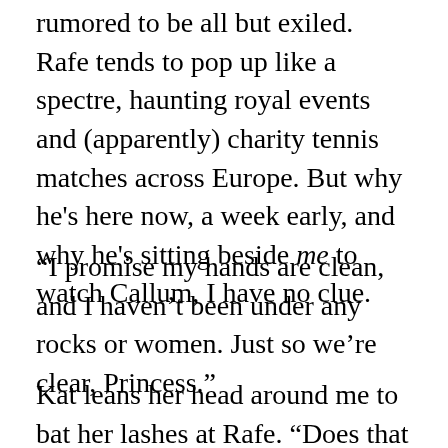rumored to be all but exiled. Rafe tends to pop up like a spectre, haunting royal events and (apparently) charity tennis matches across Europe. But why he's here now, a week early, and why he's sitting beside me to watch Callum, I have no clue.
“I promise my hands are clean, and I haven’t been under any rocks or women. Just so we’re clear, Princess.”
Kat leans her head around me to bat her lashes at Rafe. “Does that mean you’re